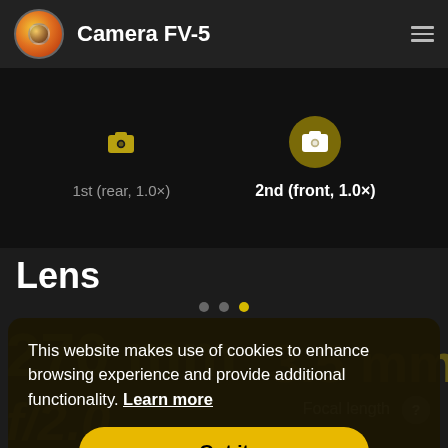Camera FV-5
1st (rear, 1.0×)
2nd (front, 1.0×)
Lens
This website makes use of cookies to enhance browsing experience and provide additional functionality. Learn more
Got it